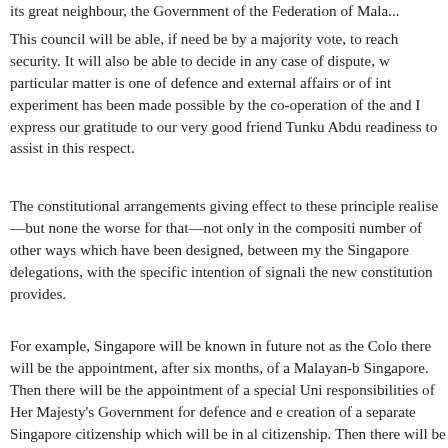its great neighbour, the Government of the Federation of Mala...
This council will be able, if need be by a majority vote, to reach security. It will also be able to decide in any case of dispute, w particular matter is one of defence and external affairs or of int experiment has been made possible by the co-operation of the and I express our gratitude to our very good friend Tunku Abdu readiness to assist in this respect.
The constitutional arrangements giving effect to these principle realise—but none the worse for that—not only in the compositi number of other ways which have been designed, between my the Singapore delegations, with the specific intention of signali the new constitution provides.
For example, Singapore will be known in future not as the Col there will be the appointment, after six months, of a Malayan-b Singapore. Then there will be the appointment of a special Uni responsibilities of Her Majesty's Government for defence and creation of a separate Singapore citizenship which will be in al citizenship. Then there will be the abolition of any constitutional Singapore's conduct of its internal affairs, except when those...